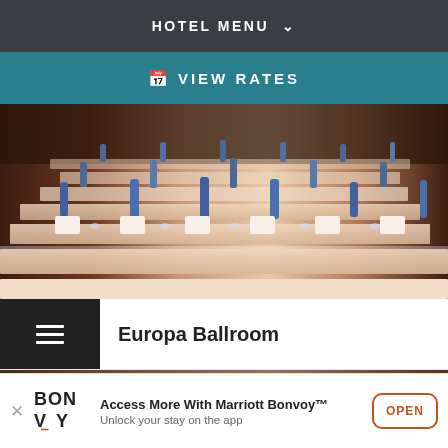HOTEL MENU
VIEW RATES
[Figure (photo): Conference ballroom set up for an event with rows of tables, white chairs, blue water bottles, and glassware arranged formally]
Europa Ballroom
[Figure (photo): Partial view of another hotel venue with dark wood tones and decorative elements]
Access More With Marriott Bonvoy™ Unlock your stay on the app